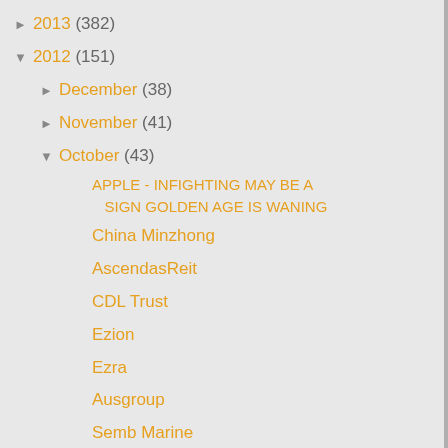► 2013 (382)
▼ 2012 (151)
► December (38)
► November (41)
▼ October (43)
APPLE - INFIGHTING MAY BE A SIGN GOLDEN AGE IS WANING
China Minzhong
AscendasReit
CDL Trust
Ezion
Ezra
Ausgroup
Semb Marine
Apple
Hotel Royal
Religare